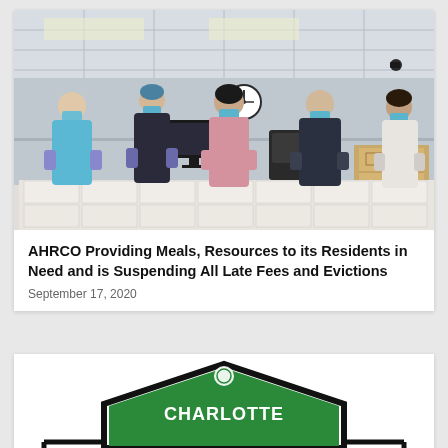[Figure (photo): Five people wearing face masks standing behind a table filled with rows of packaged food containers in a room with drop ceiling and a wall clock. The person on the left wears a teal puffer jacket, the second wears dark clothing with a blue beanie, the center person wears a pink top, the fourth wears a dark jacket, and the fifth on the right wears a white top.]
AHRCO Providing Meals, Resources to its Residents in Need and is Suspending All Late Fees and Evictions
September 17, 2020
[Figure (logo): AHRCO Charlotte logo — a green pentagon/house shape with white text reading CHARLOTTE and a green logo emblem at the top, with black outlined borders forming a house/building shape at the bottom.]